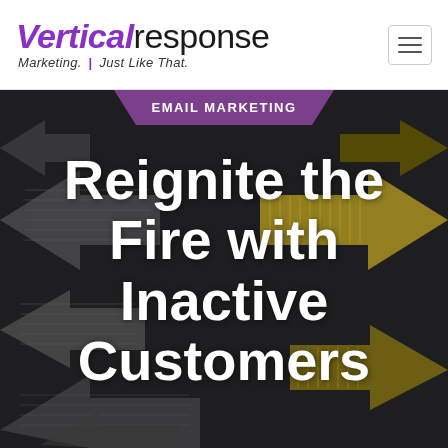[Figure (logo): VerticalResponse logo with tagline 'Marketing. Just Like That.' in purple and black. Navigation hamburger menu icon in top right.]
[Figure (infographic): Dark hero banner with gray and gold/olive arrow graphics pointing left and right, a purple trapezoidal 'EMAIL MARKETING' banner at top center, and large white bold title text reading 'Reignite the Fire with Inactive Customers']